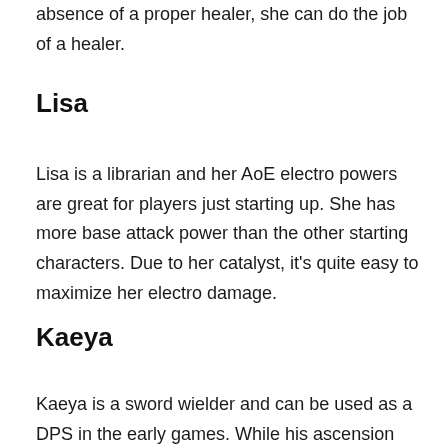absence of a proper healer, she can do the job of a healer.
Lisa
Lisa is a librarian and her AoE electro powers are great for players just starting up. She has more base attack power than the other starting characters. Due to her catalyst, it's quite easy to maximize her electro damage.
Kaeya
Kaeya is a sword wielder and can be used as a DPS in the early games. While his ascension stats